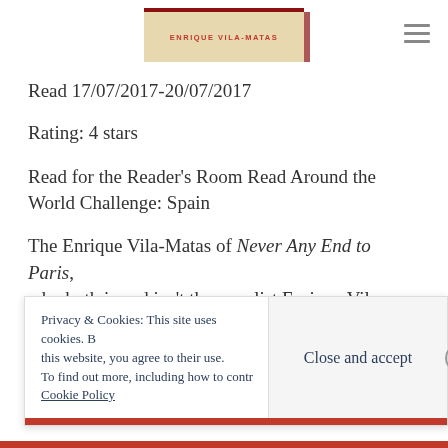[Figure (illustration): Book banner/cover header showing 'ENRIQUE VILA-MATAS' text in red uppercase letters on a tan/cream background with a dark red top border and side spine element]
Read 17/07/2017-20/07/2017
Rating: 4 stars
Read for the Reader's Room Read Around the World Challenge: Spain
The Enrique Vila-Matas of Never Any End to Paris, who both is and isn't the novelist Enrique Vila-
Privacy & Cookies: This site uses cookies. By continuing to use this website, you agree to their use. To find out more, including how to control cookies, see here: Cookie Policy
Close and accept